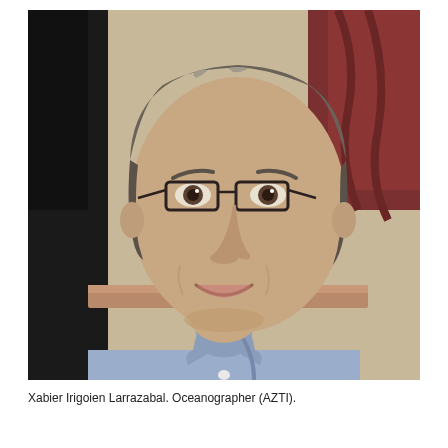[Figure (photo): Portrait photograph of Xabier Irigoien Larrazabal, a middle-aged man with short grey-brown hair wearing rectangular dark-rimmed glasses and a light blue collared shirt with a conference lanyard. He is smiling and looking slightly to the left. The background shows a blurred indoor setting.]
Xabier Irigoien Larrazabal. Oceanographer (AZTI).